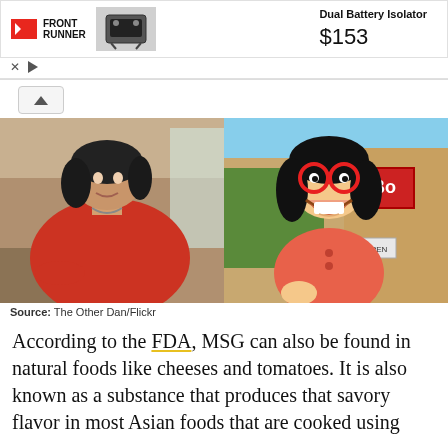[Figure (screenshot): Advertisement banner for Front Runner Dual Battery Isolator showing logo, product image, and price of $153]
[Figure (photo): Side-by-side images: left is a real photo of an Asian woman in a red top, right is a cartoon illustration of Linda Belcher from Bob's Burgers]
Source: The Other Dan/Flickr
According to the FDA, MSG can also be found in natural foods like cheeses and tomatoes. It is also known as a substance that produces that savory flavor in most Asian foods that are cooked using